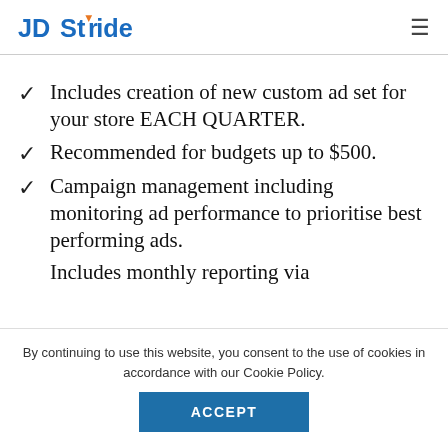JD Stride
Includes creation of new custom ad set for your store EACH QUARTER.
Recommended for budgets up to $500.
Campaign management including monitoring ad performance to prioritise best performing ads.
Includes monthly reporting via
By continuing to use this website, you consent to the use of cookies in accordance with our Cookie Policy.
ACCEPT